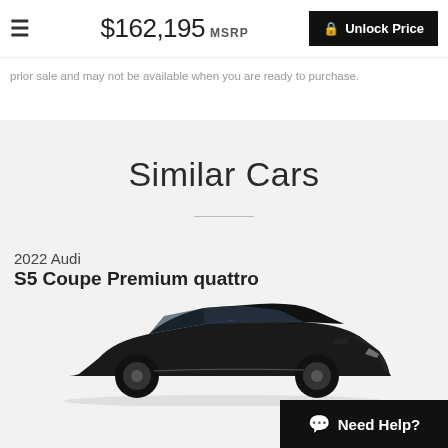$162,195 MSRP  Unlock Price
prior sale and may not be available when you are ready to purchase.
Similar Cars
2022 Audi
S5 Coupe Premium quattro
[Figure (photo): Black Audi S5 Coupe side profile photo, partially cropped at bottom of page]
Need Help?